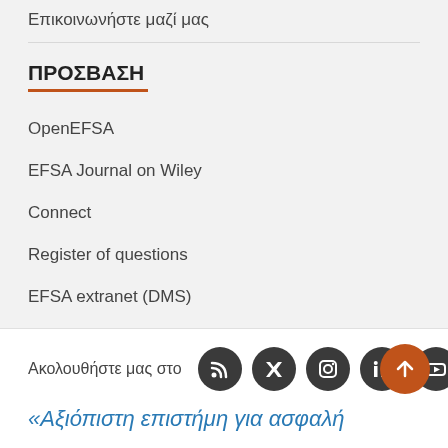Επικοινωνήστε μαζί μας
ΠΡΟΣΒΑΣΗ
OpenEFSA
EFSA Journal on Wiley
Connect
Register of questions
EFSA extranet (DMS)
Ακολουθήστε μας στο
«Αξιόπιστη επιστήμη για ασφαλή